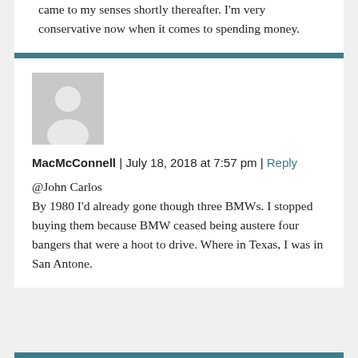came to my senses shortly thereafter. I'm very conservative now when it comes to spending money.
MacMcConnell | July 18, 2018 at 7:57 pm | Reply
[Figure (illustration): Gray placeholder avatar icon showing a silhouette of a person]
@John Carlos
By 1980 I'd already gone though three BMWs. I stopped buying them because BMW ceased being austere four bangers that were a hoot to drive. Where in Texas, I was in San Antone.